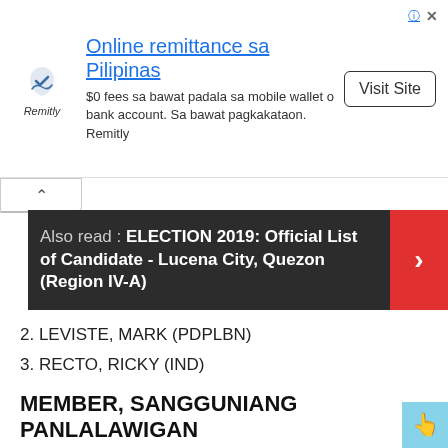[Figure (other): Remitly advertisement banner with logo, headline 'Online remittance sa Pilipinas', body text '$0 fees sa bawat padala sa mobile wallet o bank account. Sa bawat pagkakataon. Remitly', and a 'Visit Site' button.]
Also read : ELECTION 2019: Official List of Candidate - Lucena City, Quezon (Region IV-A)
2. LEVISTE, MARK (PDPLBN)
3. RECTO, RICKY (IND)
MEMBER, SANGGUNIANG PANLALAWIGAN / Vote for 2
1. DOLOR, HERMINIO (IND)
2. MAGBOO, DOC ARLENE (NP)
3. RIVERA, WILSON LEANDRO (NP)